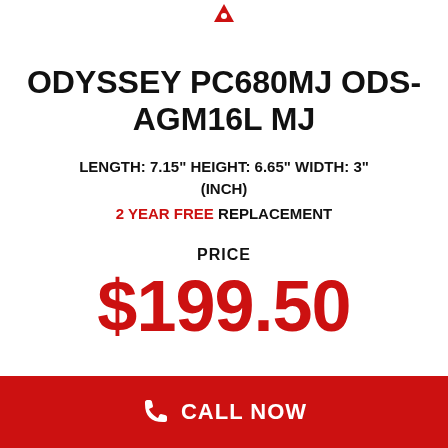[Figure (logo): Red logo mark at top center of page]
ODYSSEY PC680MJ ODS-AGM16L MJ
LENGTH: 7.15" HEIGHT: 6.65" WIDTH: 3" (Inch)
2 YEAR FREE REPLACEMENT
PRICE
$199.50
CALL NOW